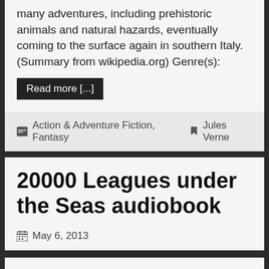many adventures, including prehistoric animals and natural hazards, eventually coming to the surface again in southern Italy. (Summary from wikipedia.org) Genre(s):
Read more [...]
Action & Adventure Fiction, Fantasy  Jules Verne
20000 Leagues under the Seas audiobook
May 6, 2013
20000 Leagues under the Seas audiobook by Jules Verne (1828-1905) Translated by F.P.